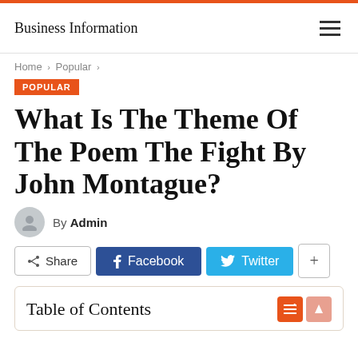Business Information
Home > Popular >
POPULAR
What Is The Theme Of The Poem The Fight By John Montague?
By Admin
Share  Facebook  Twitter  +
Table of Contents